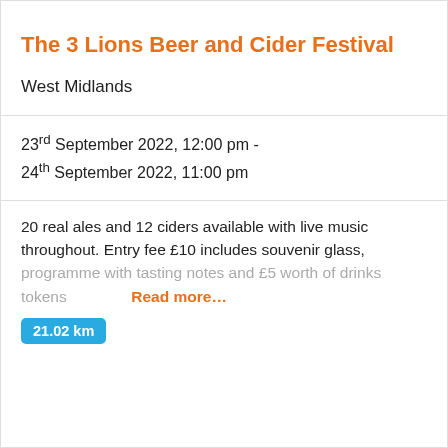The 3 Lions Beer and Cider Festival
West Midlands
23rd September 2022, 12:00 pm - 24th September 2022, 11:00 pm
20 real ales and 12 ciders available with live music throughout. Entry fee £10 includes souvenir glass, programme with tasting notes and £5 worth of drinks tokens Read more…
21.02 km